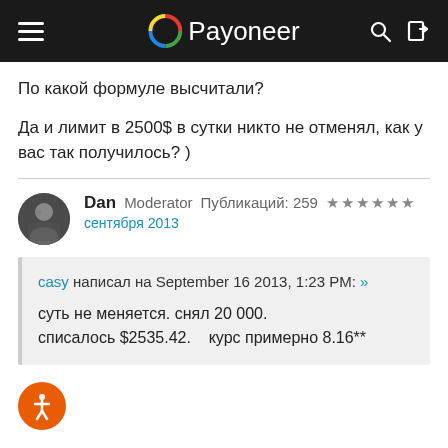Payoneer
По какой формуле высчитали?
Да и лимит в 2500$ в сутки никто не отменял, как у вас так получилось? )
Dan  Moderator  Публикаций: 259  ★★★★★★
сентября 2013
casy написал на September 16 2013, 1:23 PM: »
суть не меняется. снял 20 000.
списалось $2535.42.   курс примерно 8.16**